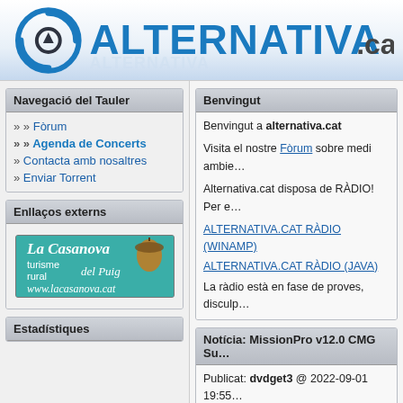[Figure (logo): ALTERNATIVA.cat logo with circular icon on left and large text on right]
Navegació del Tauler
» Fòrum
» Agenda de Concerts
» Contacta amb nosaltres
» Enviar Torrent
Enllaços externs
[Figure (illustration): La Casanova turisme rural del Puig www.lacasanova.cat advertisement image]
Estadístiques
Benvingut
Benvingut a alternativa.cat
Visita el nostre Fòrum sobre medi ambie…
Alternativa.cat disposa de RÀDIO! Per e…
ALTERNATIVA.CAT RÀDIO (WINAMP)
ALTERNATIVA.CAT RÀDIO (JAVA)
La ràdio està en fase de proves, disculp…
Notícia: MissionPro v12.0 CMG Su…
Publicat: dvdget3 @ 2022-09-01 19:55
Torrent download Shoemaster v2019 En-----anwer8#nextmail.ru-----change "#" tJust for a test,anything you need-----Intel Parallel Studio XE 2016…